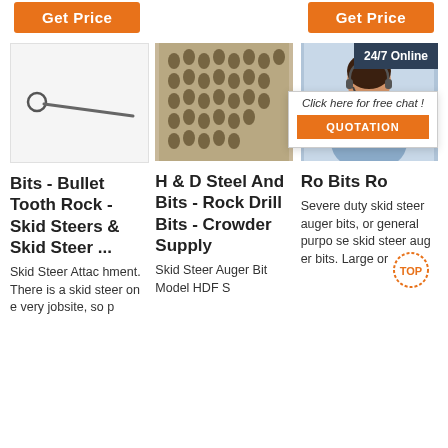[Figure (screenshot): Two orange 'Get Price' buttons at the top of a product listing page]
[Figure (photo): Photo of a metal skewer/pin tool on white background]
[Figure (photo): Photo of many H&D steel rock drill bits arranged on a surface]
[Figure (photo): Customer service representative with headset, with 24/7 Online chat popup overlay]
Bits - Bullet Tooth Rock - Skid Steers & Skid Steer ...
H & D Steel And Bits - Rock Drill Bits - Crowder Supply
Ro Bits Ro
Skid Steer Attachment. There is a skid steer on every jobsite, so p
Skid Steer Auger Bit Model HDF S
Severe duty skid steer auger bits, or general purpose skid steer auger bits. Large or